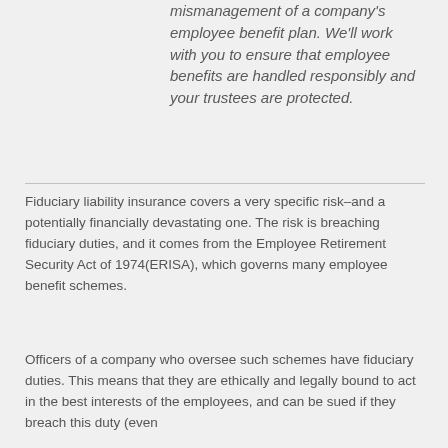mismanagement of a company's employee benefit plan. We'll work with you to ensure that employee benefits are handled responsibly and your trustees are protected.
Fiduciary liability insurance covers a very specific risk–and a potentially financially devastating one. The risk is breaching fiduciary duties, and it comes from the Employee Retirement Security Act of 1974(ERISA), which governs many employee benefit schemes.
Officers of a company who oversee such schemes have fiduciary duties. This means that they are ethically and legally bound to act in the best interests of the employees, and can be sued if they breach this duty (even